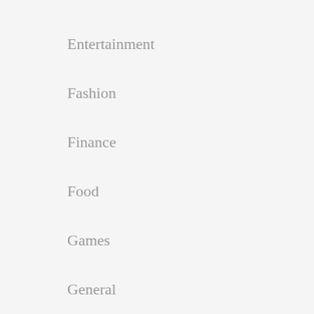Entertainment
Fashion
Finance
Food
Games
General
Health
Home
Law
Pet